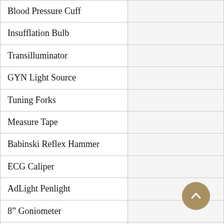| Item |  |
| --- | --- |
| Blood Pressure Cuff |  |
| Insufflation Bulb |  |
| Transilluminator |  |
| GYN Light Source |  |
| Tuning Forks |  |
| Measure Tape |  |
| Babinski Reflex Hammer |  |
| ECG Caliper |  |
| AdLight Penlight |  |
| 8” Goniometer |  |
| Monofilament |  |